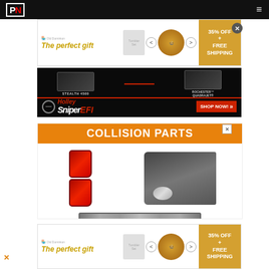PN (Performance Network) navigation bar with logo and hamburger menu
[Figure (advertisement): The perfect gift ad with food bowl image, arrows, 35% OFF + FREE SHIPPING orange panel]
[Figure (advertisement): Holley Sniper EFI ad showing STEALTH 4500 and ROCHESTER QUADRAJET devices on black background, SHOP NOW button]
[Figure (advertisement): COLLISION PARTS ad with orange header, showing tail lights, fender/bumper assembly, and grille parts]
[Figure (advertisement): The perfect gift ad (bottom repeat) with food bowl image, arrows, 35% OFF + FREE SHIPPING orange panel]